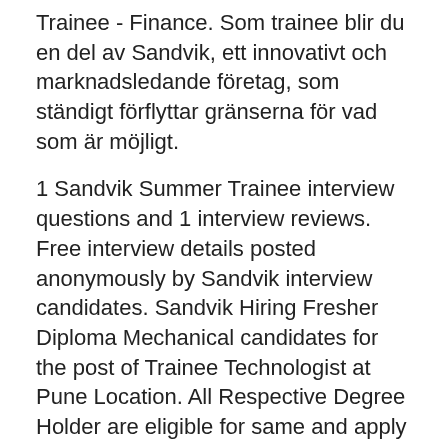Trainee - Finance. Som trainee blir du en del av Sandvik, ett innovativt och marknadsledande företag, som ständigt förflyttar gränserna för vad som är möjligt.
1 Sandvik Summer Trainee interview questions and 1 interview reviews. Free interview details posted anonymously by Sandvik interview candidates. Sandvik Hiring Fresher Diploma Mechanical candidates for the post of Trainee Technologist at Pune Location. All Respective Degree Holder are eligible for same and apply link are given below in this post. Average Sandvik Asia Apprentice Trainee salary in Pune is 1.1 Lakhs per year as shared by 6 employees. Know how much do Sandvik Asia Apprentice Trainee employees earn by experience, location and roles.